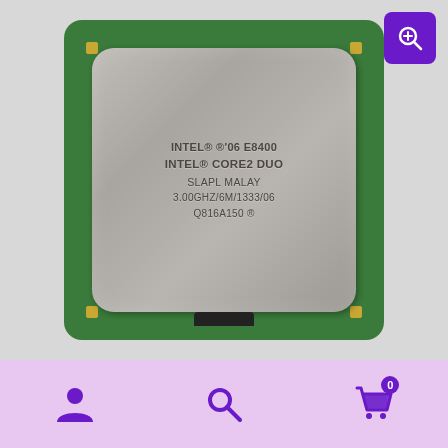[Figure (photo): Intel Core 2 Duo E8400 CPU processor top view showing the silver IHS lid with text: INTEL 06 E8400, INTEL CORE2 DUO, SLAPL MALAY, 3.00GHZ/6M/1333/06, Q816A150, mounted on green PCB with gold corner contacts. A purple zoom icon is in the top-right corner.]
[Figure (infographic): Light purple bottom navigation bar with three purple icons: user/person icon on the left, magnifying glass/search icon in the center, and shopping cart icon with badge showing '0' on the right.]